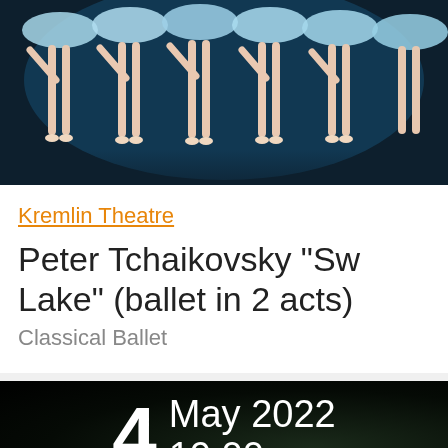[Figure (photo): Ballet dancers in blue tutus on stage, photographed from below showing legs and pointe shoes against dark background]
Kremlin Theatre
Peter Tchaikovsky "Swan Lake" (ballet in 2 acts)
Classical Ballet
[Figure (photo): Dark banner with date: 4 May 2022, 19:00]